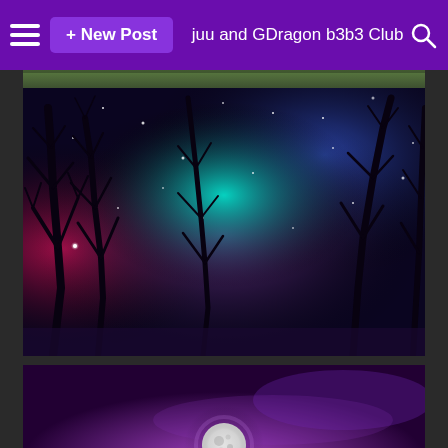≡  + New Post   juu and GDragon b3b3 Club  🔍
[Figure (photo): Partial strip of a nature/landscape image at top of feed]
[Figure (photo): Looking up through bare winter trees at a colorful galaxy-like night sky with red, blue, purple, cyan hues and bright stars]
[Figure (photo): Purple misty night landscape with a full moon rising near the horizon over a dark purple foggy scene]